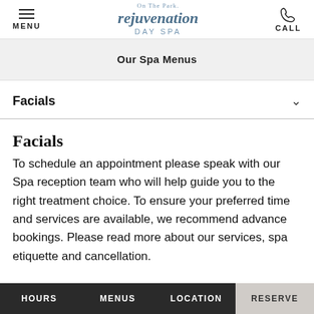MENU | On The Park rejuvenation DAY SPA | CALL
Our Spa Menus
Facials
Facials
To schedule an appointment please speak with our Spa reception team who will help guide you to the right treatment choice. To ensure your preferred time and services are available, we recommend advance bookings. Please read more about our services, spa etiquette and cancellation.
HOURS | MENUS | LOCATION | RESERVE